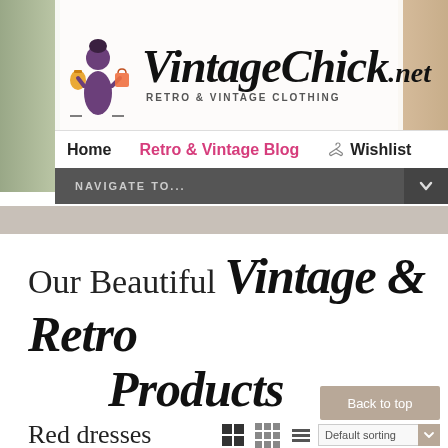[Figure (logo): VintageChick.net logo with stylized woman figure holding bags, script lettering and tagline 'Retro & Vintage Clothing']
Home  Retro & Vintage Blog  Wishlist
NAVIGATE TO...
Our Beautiful Vintage & Retro Products
Back to top
Red dresses
Default sorting